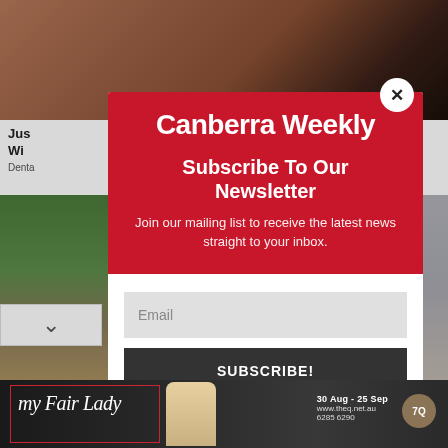[Figure (screenshot): Background webpage showing a close-up skin/face photo at top, article title 'Jus... Wi...' and 'Denta...' text, green area and parking lot photo at bottom left, cars at bottom right.]
Canberra Weekly
Subscribe To Our Newsletter
Join our mailing list to receive the latest news straight to your inbox.
Email
SUBSCRIBE!
[Figure (infographic): My Fair Lady advertisement banner at bottom. Shows cursive 'My Fair Lady' logo text with pink/red border, woman in large white hat, dates '30 Aug - 25 Sep', website 'www.theq.net.au', phone '6285 6290', and Theatre Q logo circle.]